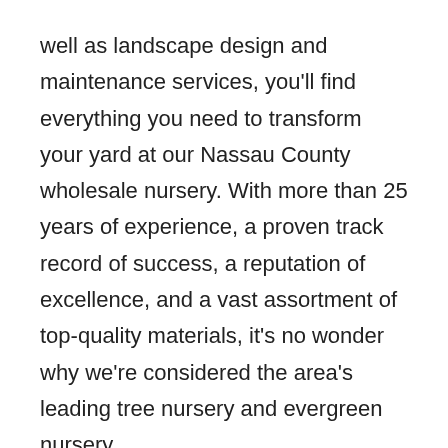well as landscape design and maintenance services, you'll find everything you need to transform your yard at our Nassau County wholesale nursery. With more than 25 years of experience, a proven track record of success, a reputation of excellence, and a vast assortment of top-quality materials, it's no wonder why we're considered the area's leading tree nursery and evergreen nursery.
Tips to Help You Find a Reputable Local Plant Nursery